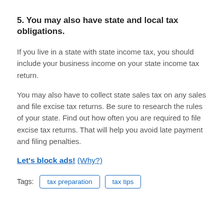5. You may also have state and local tax obligations.
If you live in a state with state income tax, you should include your business income on your state income tax return.
You may also have to collect state sales tax on any sales and file excise tax returns. Be sure to research the rules of your state. Find out how often you are required to file excise tax returns. That will help you avoid late payment and filing penalties.
Let's block ads! (Why?)
Tags: tax preparation  tax tips